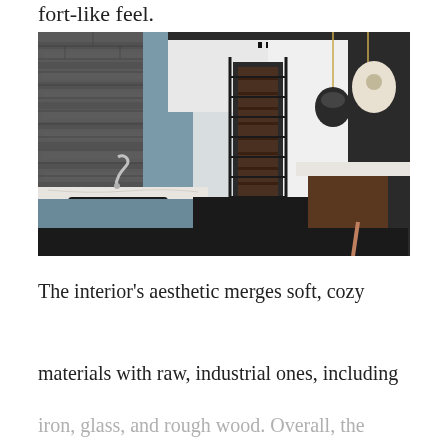fort-like feel.
[Figure (photo): Modern kitchen interior with dark brick wall on left, blue-grey cabinetry, black double sink with silver faucet, white marble countertops, dark wood kitchen island, black pendant globe lights, wine storage cabinet in background, dark floor.]
The interior's aesthetic merges soft, cozy materials with raw, industrial ones, including iron, glass, and rough wood. Overall, the